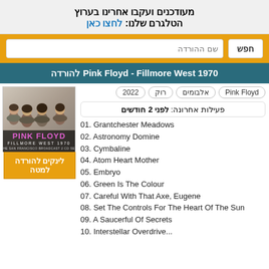מעודכנים ועקבו אחרינו בערוץ הטלגרם שלנו: לחצו כאן
שם ההורדה | חפש
Pink Floyd - Fillmore West 1970 להורדה
Pink Floyd | אלבומים | רוק | 2022
פעילות אחרונה: לפני 2 חודשים
01. Grantchester Meadows
02. Astronomy Domine
03. Cymbaline
04. Atom Heart Mother
05. Embryo
06. Green Is The Colour
07. Careful With That Axe, Eugene
08. Set The Controls For The Heart Of The Sun
09. A Saucerful Of Secrets
10. Interstellar Overdrive
[Figure (photo): Pink Floyd - Fillmore West 1970 album cover with band photo]
לינקים להורדה למטה